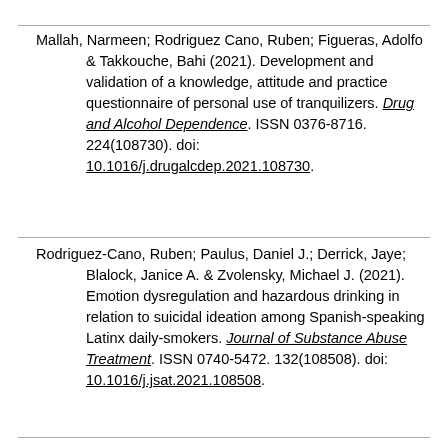Mallah, Narmeen; Rodriguez Cano, Ruben; Figueras, Adolfo & Takkouche, Bahi (2021). Development and validation of a knowledge, attitude and practice questionnaire of personal use of tranquilizers. Drug and Alcohol Dependence. ISSN 0376-8716. 224(108730). doi: 10.1016/j.drugalcdep.2021.108730.
Rodriguez-Cano, Ruben; Paulus, Daniel J.; Derrick, Jaye; Blalock, Janice A. & Zvolensky, Michael J. (2021). Emotion dysregulation and hazardous drinking in relation to suicidal ideation among Spanish-speaking Latinx daily-smokers. Journal of Substance Abuse Treatment. ISSN 0740-5472. 132(108508). doi: 10.1016/j.jsat.2021.108508.